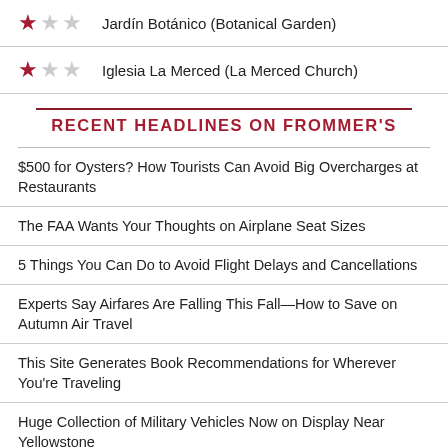Jardín Botánico (Botanical Garden) — 1 star out of 3
Iglesia La Merced (La Merced Church) — 1 star out of 3
RECENT HEADLINES ON FROMMER'S
$500 for Oysters? How Tourists Can Avoid Big Overcharges at Restaurants
The FAA Wants Your Thoughts on Airplane Seat Sizes
5 Things You Can Do to Avoid Flight Delays and Cancellations
Experts Say Airfares Are Falling This Fall—How to Save on Autumn Air Travel
This Site Generates Book Recommendations for Wherever You're Traveling
Huge Collection of Military Vehicles Now on Display Near Yellowstone
Great Smoky Mountains to Charge for Parking and Raise Camping Fees
Looking for Cheaper Flights This Fall? Go West!